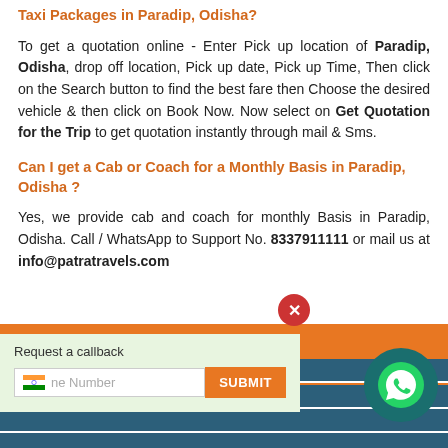Taxi Packages in Paradip, Odisha?
To get a quotation online - Enter Pick up location of Paradip, Odisha, drop off location, Pick up date, Pick up Time, Then click on the Search button to find the best fare then Choose the desired vehicle & then click on Book Now. Now select on Get Quotation for the Trip to get quotation instantly through mail & Sms.
Can I get a Cab or Coach for a Monthly Basis in Paradip, Odisha ?
Yes, we provide cab and coach for monthly Basis in Paradip, Odisha. Call / WhatsApp to Support No. 8337911111 or mail us at info@patratravels.com
LOCAL TARIFF